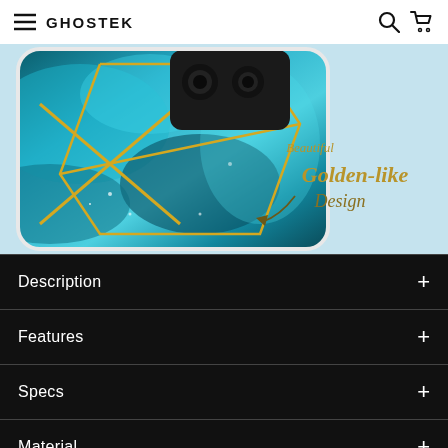GHOSTEK
[Figure (photo): Close-up of a teal/turquoise marble phone case with gold geometric line pattern. Text overlay reads 'Beautiful Golden-like Design' with a decorative arrow.]
Description
Features
Specs
Material